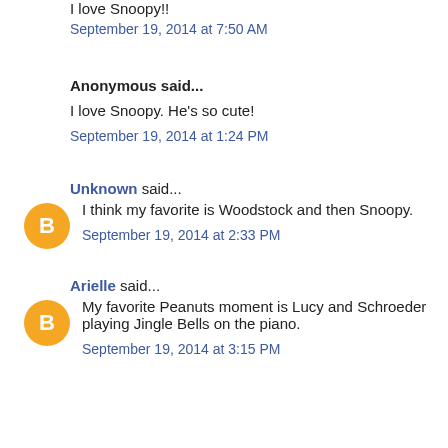I love Snoopy!!
September 19, 2014 at 7:50 AM
Anonymous said...
I love Snoopy. He's so cute!
September 19, 2014 at 1:24 PM
Unknown said...
I think my favorite is Woodstock and then Snoopy.
September 19, 2014 at 2:33 PM
Arielle said...
My favorite Peanuts moment is Lucy and Schroeder playing Jingle Bells on the piano.
September 19, 2014 at 3:15 PM